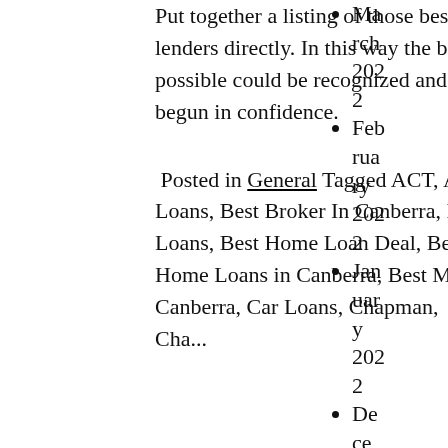Put together a listing of those best 5 or 4 deals, then contact lenders directly. In this way the best home loan package possible could be recognized and the application form process begun in confidence.
Posted in General Tagged ACT, Aussie Broker, Aussie Home Loans, Best Broker In Canberra, Best Car Finance, Best Car Loans, Best Home Loan Deal, Best Home Loans In ACT, Best Home Loans in Canberra, Best Mortgage Broker In ACT, Canberra, Car Loans, Chapman, ...
March 2022
February 2022
January 2022
December